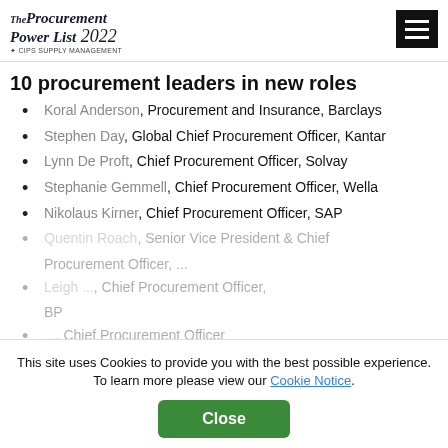The Procurement Power List 2022 CIPS Supply Management
10 procurement leaders in new roles
Koral Anderson, Procurement and Insurance, Barclays
Stephen Day, Global Chief Procurement Officer, Kantar
Lynn De Proft, Chief Procurement Officer, Solvay
Stephanie Gemmell, Chief Procurement Officer, Wella
Nikolaus Kirner, Chief Procurement Officer, SAP
Quentin Roach, Senior Vice President & Chief Procurement Officer
Leigh, Chief Procurement Officer, BP
Chief Procurement Officer
This site uses Cookies to provide you with the best possible experience. To learn more please view our Cookie Notice.